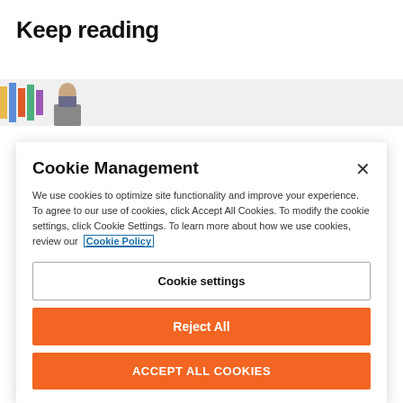Keep reading
[Figure (photo): Partial image strip showing a person and colorful graphic elements]
Cookie Management
We use cookies to optimize site functionality and improve your experience. To agree to our use of cookies, click Accept All Cookies. To modify the cookie settings, click Cookie Settings. To learn more about how we use cookies, review our Cookie Policy
Cookie settings
Reject All
ACCEPT ALL COOKIES